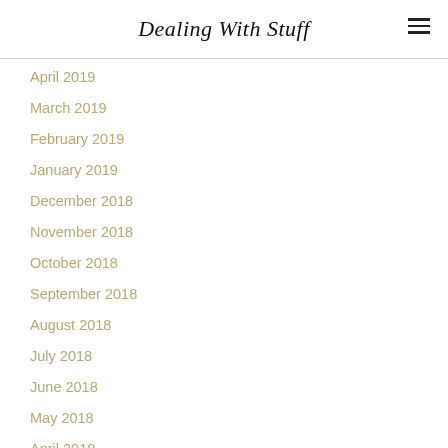Dealing With Stuff
April 2019
March 2019
February 2019
January 2019
December 2018
November 2018
October 2018
September 2018
August 2018
July 2018
June 2018
May 2018
April 2018
March 2018
February 2018
January 2018
December 2017